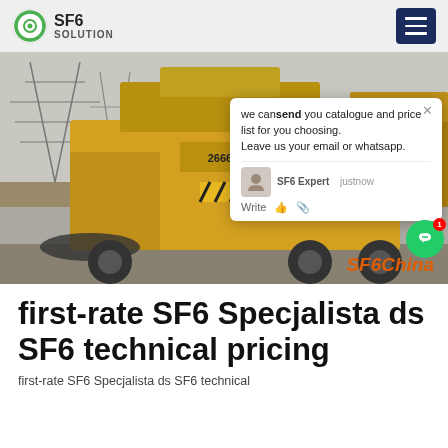SF6 SOLUTION
[Figure (photo): Yellow SF6 gas recovery/handling truck at an electrical substation with transmission towers in the background. A chat popup overlay is visible with text: 'we can send you catalogue and price list for you choosing. Leave us your email or whatsapp.' SF6 Expert just now. SF6China watermark visible.]
first-rate SF6 Specjalista ds SF6 technical pricing
first-rate SF6 Specjalista ds SF6 technical